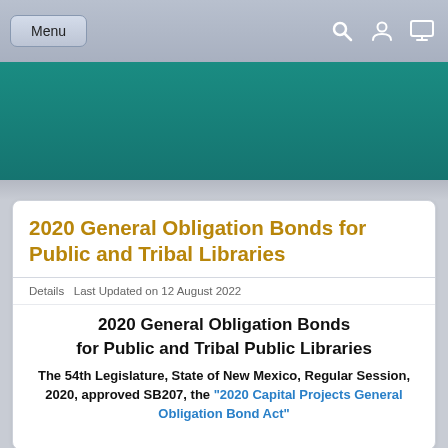Menu
2020 General Obligation Bonds for Public and Tribal Libraries
Details  Last Updated on 12 August 2022
2020 General Obligation Bonds for Public and Tribal Public Libraries
The 54th Legislature, State of New Mexico, Regular Session, 2020, approved SB207, the "2020 Capital Projects General Obligation Bond Act"